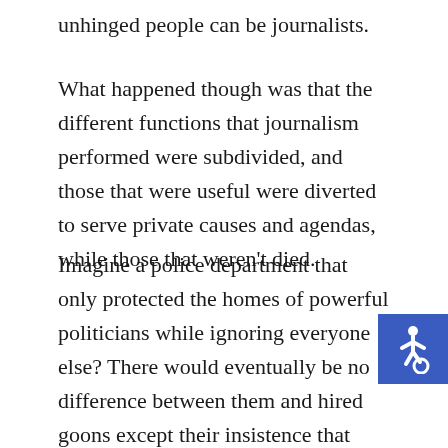unhinged people can be journalists.
What happened though was that the different functions that journalism performed were subdivided, and those that were useful were diverted to serve private causes and agendas, while those that weren't died.
Imagine a police department that only protected the homes of powerful politicians while ignoring everyone else? There would eventually be no difference between them and hired goons except their insistence that they have noble principles and serve an important function.
[Figure (illustration): Accessibility icon: white wheelchair user symbol on a blue square background]